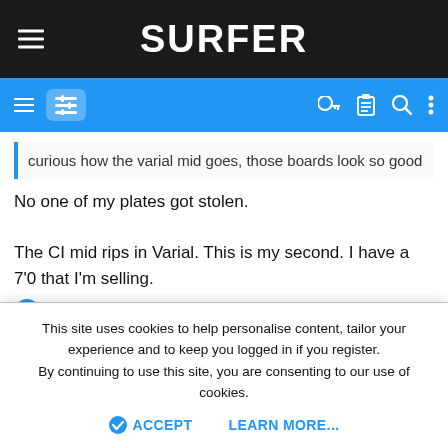SURFER
curious how the varial mid goes, those boards look so good
No one of my plates got stolen.

The CI mid rips in Varial. This is my second. I have a 7'0 that I'm selling.
hugh shackman
racer1
This site uses cookies to help personalise content, tailor your experience and to keep you logged in if you register.
By continuing to use this site, you are consenting to our use of cookies.
ACCEPT   LEARN MORE...